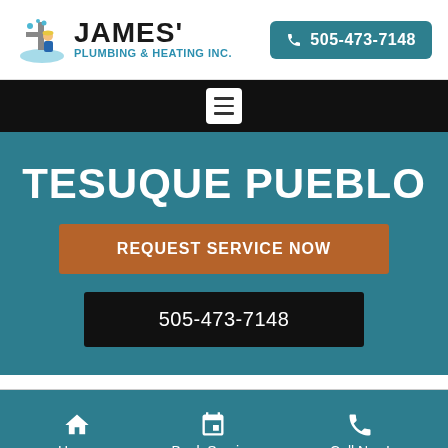[Figure (logo): James' Plumbing & Heating Inc. logo with plumber mascot icon]
505-473-7148
[Figure (screenshot): Navigation hamburger menu button]
TESUQUE PUEBLO
REQUEST SERVICE NOW
505-473-7148
Home
Book Service
Call Now!